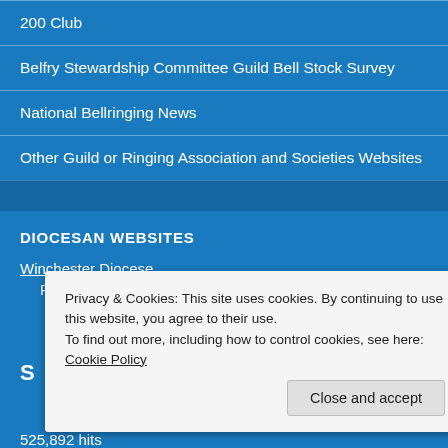200 Club
Belfry Stewardship Committee Guild Bell Stock Survey
National Bellringing News
Other Guild or Ringing Association and Societies Websites
DIOCESAN WEBSITES
Winchester Diocese
P…
S…
525,892 hits
Privacy & Cookies: This site uses cookies. By continuing to use this website, you agree to their use.
To find out more, including how to control cookies, see here: Cookie Policy
Close and accept